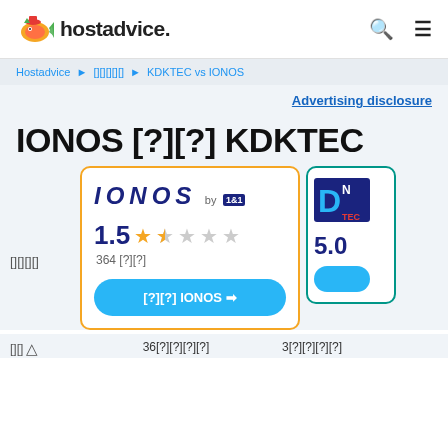hostadvice.
Hostadvice > [breadcrumb] > KDKTEC vs IONOS
Advertising disclosure
IONOS 対 KDKTEC
比較
[Figure (logo): IONOS by 1&1 logo with orange star rating 1.5 out of 5, 364 reviews, and a Visit IONOS button]
[Figure (logo): KDKTEC logo partial card with 5.0 rating]
36件のレビュー
3件のレビュー（partial）